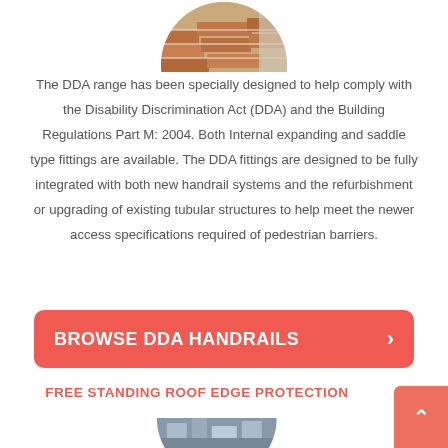[Figure (photo): Circular cropped photo of brick/masonry and handrail detail at top of page]
The DDA range has been specially designed to help comply with the Disability Discrimination Act (DDA) and the Building Regulations Part M: 2004. Both Internal expanding and saddle type fittings are available. The DDA fittings are designed to be fully integrated with both new handrail systems and the refurbishment or upgrading of existing tubular structures to help meet the newer access specifications required of pedestrian barriers.
[Figure (other): Orange-red rounded rectangle button labeled BROWSE DDA HANDRAILS with a right arrow chevron]
FREE STANDING ROOF EDGE PROTECTION
[Figure (photo): Partial circular cropped photo visible at bottom of page showing construction/roof structure]